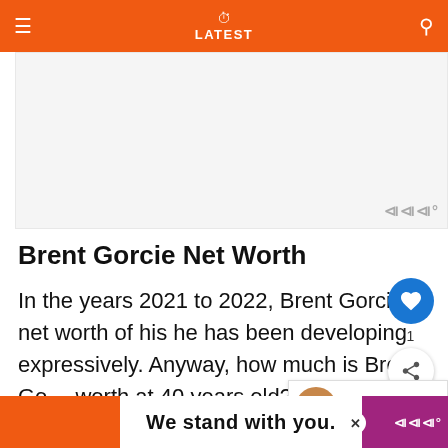LATEST
[Figure (other): Advertisement placeholder box with Meltwater watermark]
Brent Gorcie Net Worth
In the years 2021 to 2022, Brent Gorcie’s net worth of his he has been developing expressively. Anyway, how much is Brent Gorcie worth at 40 years old? The pay source of Brent Gorcie is generally from being an efficient Actor. By belonging, he is from the Canada. The total net worth of Brent Gorcie is approximately. w°d
[Figure (other): Bottom advertisement banner with orange left section, We stand with you. center text, and purple right section with Meltwater logo]